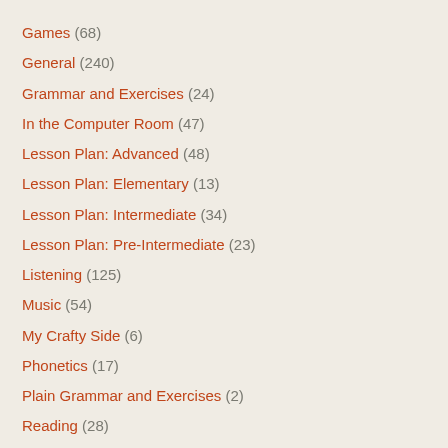Games (68)
General (240)
Grammar and Exercises (24)
In the Computer Room (47)
Lesson Plan: Advanced (48)
Lesson Plan: Elementary (13)
Lesson Plan: Intermediate (34)
Lesson Plan: Pre-Intermediate (23)
Listening (125)
Music (54)
My Crafty Side (6)
Phonetics (17)
Plain Grammar and Exercises (2)
Reading (28)